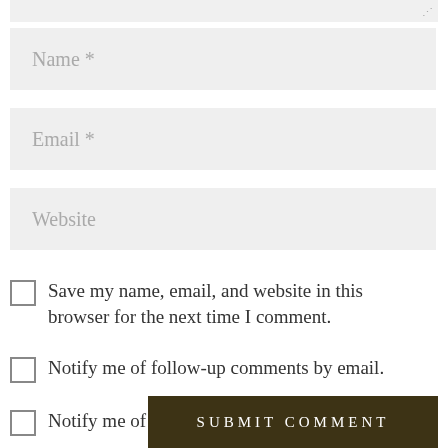[Figure (screenshot): Partial textarea (top edge visible) with resize handle in top-right corner]
Name *
Email *
Website
Save my name, email, and website in this browser for the next time I comment.
Notify me of follow-up comments by email.
Notify me of new posts by email.
SUBMIT COMMENT